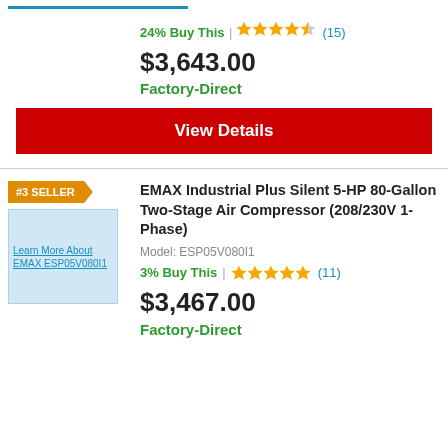24% Buy This
(15)
$3,643.00
Factory-Direct
View Details
#3 SELLER
[Figure (photo): Product image placeholder: Learn More About EMAX ESP05V080I1]
EMAX Industrial Plus Silent 5-HP 80-Gallon Two-Stage Air Compressor (208/230V 1-Phase)
Model: ESP05V080I1
3% Buy This
(11)
$3,467.00
Factory-Direct